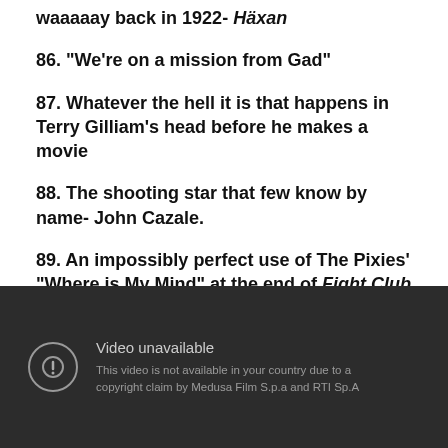waaaaay back in 1922- Häxan
86. “We’re on a mission from Gad”
87. Whatever the hell it is that happens in Terry Gilliam’s head before he makes a movie
88. The shooting star that few know by name- John Cazale.
89. An impossibly perfect use of The Pixies’ “Where is My Mind” at the end of Fight Club
[Figure (screenshot): Dark video player showing 'Video unavailable' message: 'This video is not available in your country due to a copyright claim by Medusa Film S.p.a and RTI Sp.A']